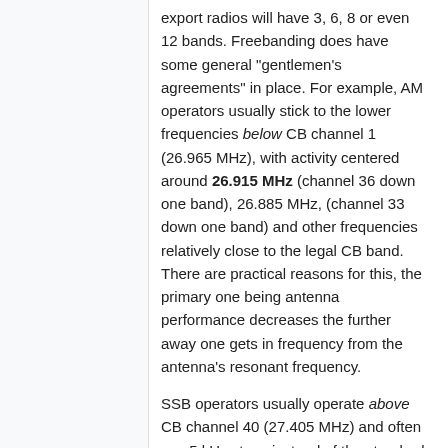export radios will have 3, 6, 8 or even 12 bands. Freebanding does have some general "gentlemen's agreements" in place. For example, AM operators usually stick to the lower frequencies below CB channel 1 (26.965 MHz), with activity centered around 26.915 MHz (channel 36 down one band), 26.885 MHz, (channel 33 down one band) and other frequencies relatively close to the legal CB band. There are practical reasons for this, the primary one being antenna performance decreases the further away one gets in frequency from the antenna's resonant frequency.
SSB operators usually operate above CB channel 40 (27.405 MHz) and often use 5 kHz steps instead of the standard 10 kHz steps. This means that in addition to 27.425 MHz, 27.435 MHz, 27.445 MHz, 27.455 MHz, etc, the "0 raster" frequencies are used as well (i.e. 27.420 MHz, 27.430 MHz, 27.450 MHz, 27.460 MHz, 27.490 MHz, etc). English-speaking stations will often stick with LSB mode, due to